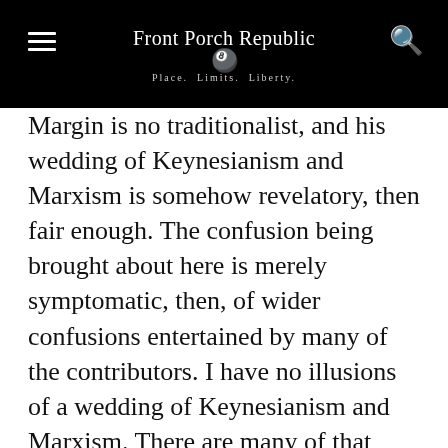Front Porch Republic Place. Limits. Liberty.
Margin is no traditionalist, and his wedding of Keynesianism and Marxism is somehow revelatory, then fair enough. The confusion being brought about here is merely symptomatic, then, of wider confusions entertained by many of the contributors. I have no illusions of a wedding of Keynesianism and Marxism. There are many of that stripe and people like Rick Wolff, Harry Cleaver, David Harvey and Nick Beams have provided ample criticisms of such reformist